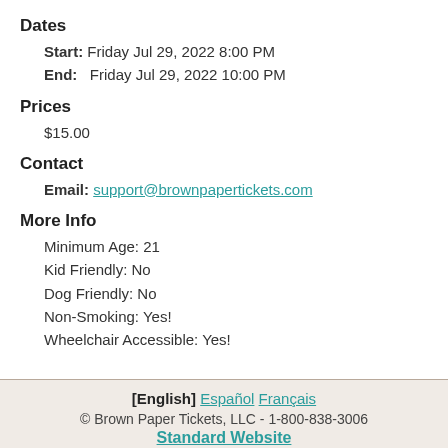Dates
Start: Friday Jul 29, 2022 8:00 PM
End: Friday Jul 29, 2022 10:00 PM
Prices
$15.00
Contact
Email: support@brownpapertickets.com
More Info
Minimum Age: 21
Kid Friendly: No
Dog Friendly: No
Non-Smoking: Yes!
Wheelchair Accessible: Yes!
[English] Español Français
© Brown Paper Tickets, LLC - 1-800-838-3006
Standard Website
Terms of Usage | Privacy Policy | Cookie Policy